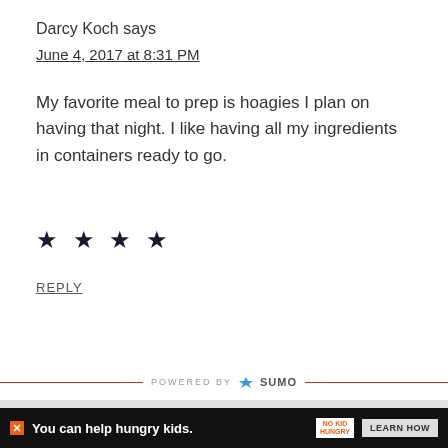Darcy Koch says
June 4, 2017 at 8:31 PM
My favorite meal to prep is hoagies I plan on having that night. I like having all my ingredients in containers ready to go.
★ ★ ★ ★
REPLY
POWERED BY SUMO
Join Our Newsletter
Free Delivery! Receive previews of recipes, printables, and other fun news.
Enter your email address
You can help hungry kids. NO KID HUNGRY LEARN HOW